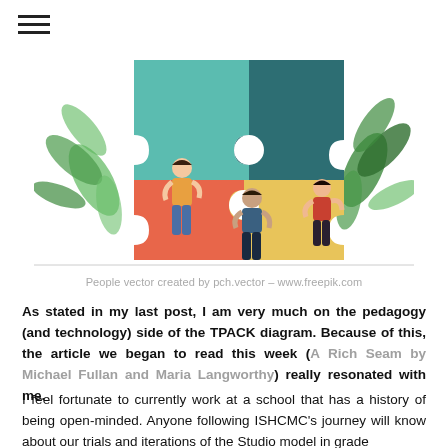≡
[Figure (illustration): Illustration of three people assembling large colorful puzzle pieces (teal, dark teal, red/orange, and yellow/gold) with tropical leaf plants in the background.]
People vector created by pch.vector – www.freepik.com
As stated in my last post, I am very much on the pedagogy (and technology) side of the TPACK diagram. Because of this, the article we began to read this week (A Rich Seam by Michael Fullan and Maria Langworthy) really resonated with me.
I feel fortunate to currently work at a school that has a history of being open-minded. Anyone following ISHCMC's journey will know about our trials and iterations of the Studio model in grade